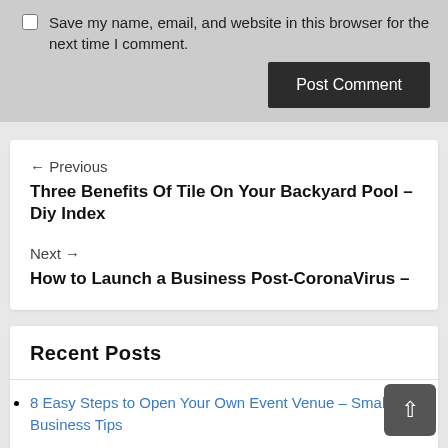Save my name, email, and website in this browser for the next time I comment.
Post Comment
← Previous
Three Benefits Of Tile On Your Backyard Pool – Diy Index
Next →
How to Launch a Business Post-CoronaVirus –
Recent Posts
8 Easy Steps to Open Your Own Event Venue – Small Business Tips
5 Family Friendly Business Ideas for Your Dental Practice –